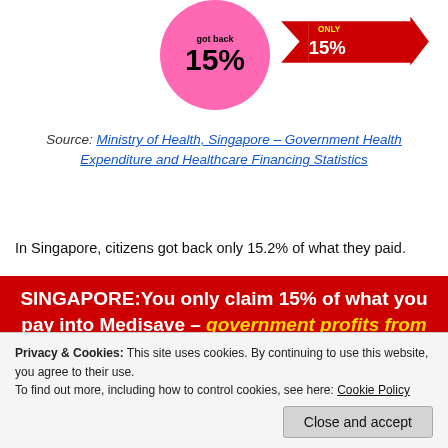[Figure (infographic): Pink circle with '15%' text and red arrow shape with 'ONLY 15%' text at top of page]
Source: Ministry of Health, Singapore – Government Health Expenditure and Healthcare Financing Statistics
In Singapore, citizens got back only 15.2% of what they paid.
SINGAPORE: You only claim 15% of what you pay into Medisave – government profits from you.
[Figure (infographic): Yellow circle with 'Government earns' text and annotation showing 'What citizens pay: S$5.6b' with arrow line]
Privacy & Cookies: This site uses cookies. By continuing to use this website, you agree to their use. To find out more, including how to control cookies, see here: Cookie Policy